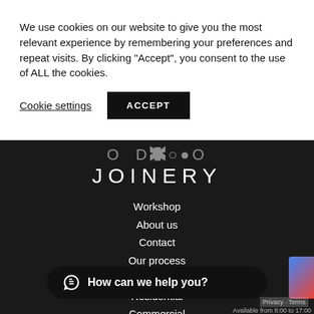We use cookies on our website to give you the most relevant experience by remembering your preferences and repeat visits. By clicking "Accept", you consent to the use of ALL the cookies.
Cookie settings
ACCEPT
[Figure (logo): O BRTOO JOINERY logo with circular graphic elements and large spaced text on dark background]
Workshop
About us
Contact
Our process
Kitchens
Residential
Commercial
Bespoke
Copyright
How can we help you?
Privacy - Terms
Available from 8:00 to 17:00